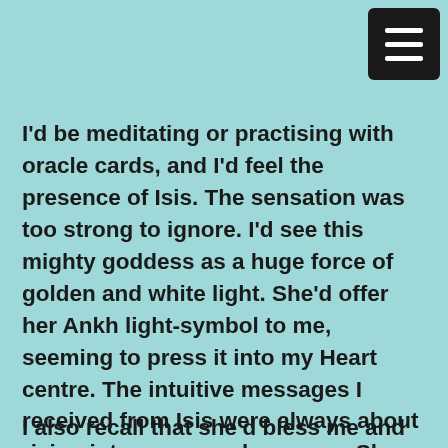[Figure (other): Navigation menu icon (hamburger menu) — black rounded rectangle with three white horizontal lines]
I'd be meditating or practising with oracle cards, and I'd feel the presence of Isis. The sensation was too strong to ignore. I'd see this mighty goddess as a huge force of golden and white light. She'd offer her Ankh light-symbol to me, seeming to press it into my Heart centre. The intuitive messages I received from Isis were always about rising into my sacred purpose. She always told me that she'd always be watching over me, and it would take a long time for this to unfold. I had to be very patient and build it step by step. She also helped me to heal my mother wound. Sometimes, Isis would come through to me via another channel or teacher, to give a message.
I also recall...